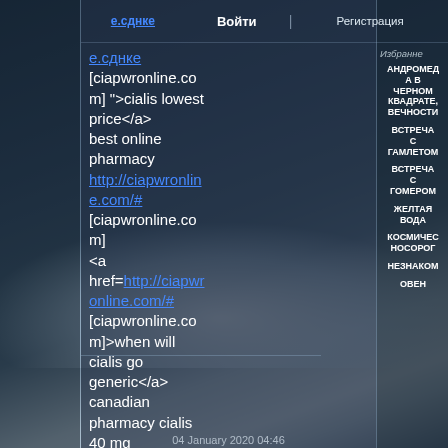Войти | Регистрация
е.сднке [ciapwronline.com] ">cialis lowest price</a> best online pharmacy http://ciapwronline.com/# [ciapwronline.com] <a href=http://ciapwronline.com/# [ciapwronline.com]>when will cialis go generic</a> canadian pharmacy cialis 40 mg
Избранне
АНДРОМЕД
В ЧЕРНОМ КВАДРАТЕ, ВЕЧНОСТИ
ВСТРЕЧА С ГАМЛЕТОМ
ВСТРЕЧА С ГОМЕРОМ
ЖЕЛТАЯ ВОДА
КОСМИЧЕС НОСОРОГ
НЕЗНАКОМ
ОВЕН
04 January 2020 04:46